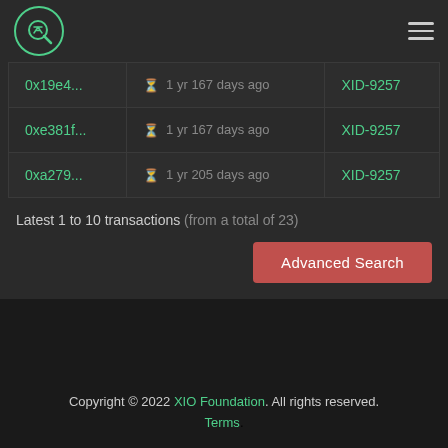ZS Logo | Navigation menu
| Transaction | Time | ID |
| --- | --- | --- |
| 0x19e4... | 1 yr 167 days ago | XID-9257 |
| 0xe381f... | 1 yr 167 days ago | XID-9257 |
| 0xa279... | 1 yr 205 days ago | XID-9257 |
Latest 1 to 10 transactions (from a total of 23)
Advanced Search
Copyright © 2022 XIO Foundation. All rights reserved. Terms.